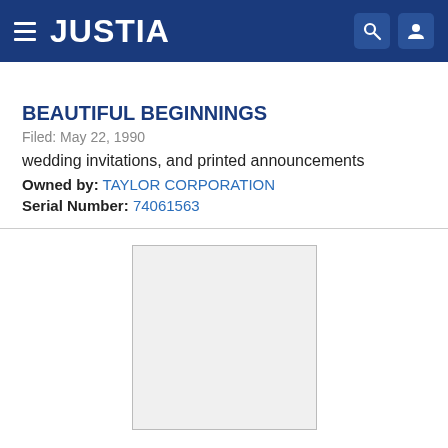JUSTIA
BEAUTIFUL BEGINNINGS
Filed: May 22, 1990
wedding invitations, and printed announcements
Owned by: TAYLOR CORPORATION
Serial Number: 74061563
[Figure (other): Empty placeholder image box with light gray background and thin border]